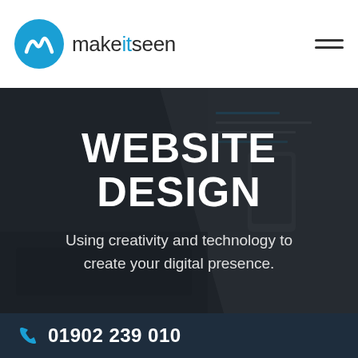[Figure (logo): Make It Seen logo — blue circle with white 'm' wave icon, followed by text 'makeitseen' in dark and blue colors]
[Figure (photo): Dark background photo of a laptop keyboard and screen with code, and a smartphone partially visible. Dark overlay applied.]
WEBSITE DESIGN
Using creativity and technology to create your digital presence.
01902 239 010